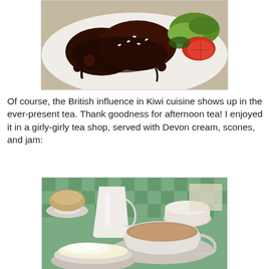[Figure (photo): A plate of meat (hamburger steak) covered in dark glazed sauce with sesame seeds, garnished with salad greens and tomato slices on a white plate.]
Of course, the British influence in Kiwi cuisine shows up in the ever-present tea. Thank goodness for afternoon tea! I enjoyed it in a girly-girly tea shop, served with Devon cream, scones, and jam:
[Figure (photo): An afternoon tea setting on a green checkered tablecloth with a white ceramic creamer jug, two white teacups on saucers (one filled with milky tea), a scone, and a bowl of Devon cream in the foreground.]